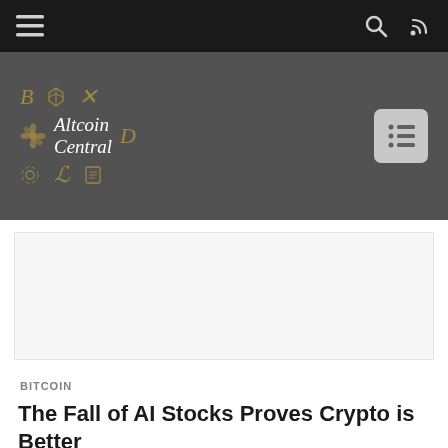Altcoin Central — navigation bar with menu, search, and RSS icons
[Figure (logo): Altcoin Central logo with cryptocurrency symbols (B, Ethereum, X, star/flower, D, gear, Litecoin, E) in gold/tan on dark gray background, with text 'Altcoin Central' in white italic]
BITCOIN
The Fall of AI Stocks Proves Crypto is Better